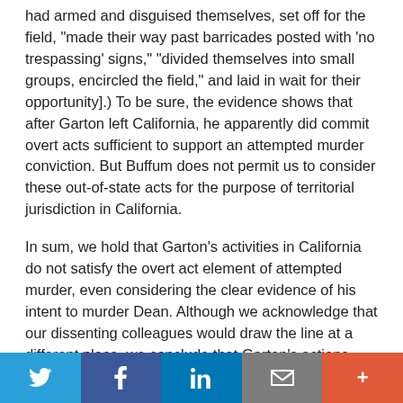had armed and disguised themselves, set off for the field, "made their way past barricades posted with 'no trespassing' signs," "divided themselves into small groups, encircled the field," and laid in wait for their opportunity].) To be sure, the evidence shows that after Garton left California, he apparently did commit overt acts sufficient to support an attempted murder conviction. But Buffum does not permit us to consider these out-of-state acts for the purpose of territorial jurisdiction in California.
In sum, we hold that Garton's activities in California do not satisfy the overt act element of attempted murder, even considering the clear evidence of his intent to murder Dean. Although we acknowledge that our dissenting colleagues would draw the line at a different place, we conclude that Garton's actions within California were not sufficient to support a conviction for attempted murder. Accordingly, we
Twitter | Facebook | LinkedIn | Email | More